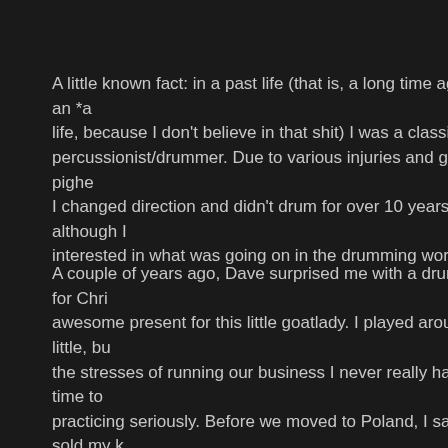A little known fact: in a past life (that is, a long time ago, not an *ac life, because I don't believe in that shit) I was a classical percussionist/drummer. Due to various injuries and general pighea I changed direction and didn't drum for over 10 years, although I w interested in what was going on in the drumming world.
A couple of years ago, Dave surprised me with a drum kit for Chri awesome present for this little goatlady. I played around a little, bu the stresses of running our business I never really had the time to practicing seriously. Before we moved to Poland, I sadly sold my k young bloke, for his daughter. I did feel slightly better that it was g chick.
Anyway, that little bit of background is to help you understand my with drums and drummers, and why I think this upcoming event is fucking cool. Sick Drummer Magazine (an online magazine that I s to, because yes I am still fascinated) is running a 5 day "camp" in California in September. As well as workshops, masterclasses and sessions with extreme metal legends like George Kollias and Dere they have a bunch of recreational activities as well like...